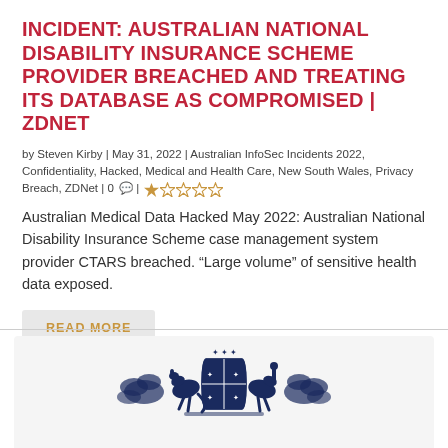INCIDENT: AUSTRALIAN NATIONAL DISABILITY INSURANCE SCHEME PROVIDER BREACHED AND TREATING ITS DATABASE AS COMPROMISED | ZDNET
by Steven Kirby | May 31, 2022 | Australian InfoSec Incidents 2022, Confidentiality, Hacked, Medical and Health Care, New South Wales, Privacy Breach, ZDNet | 0 ★☆☆☆☆
Australian Medical Data Hacked May 2022: Australian National Disability Insurance Scheme case management system provider CTARS breached. “Large volume” of sensitive health data exposed.
READ MORE
[Figure (illustration): Australian Government coat of arms — two kangaroos and an emu flanking a shield with a kangaroo, emu, and stars, with floral emblems]